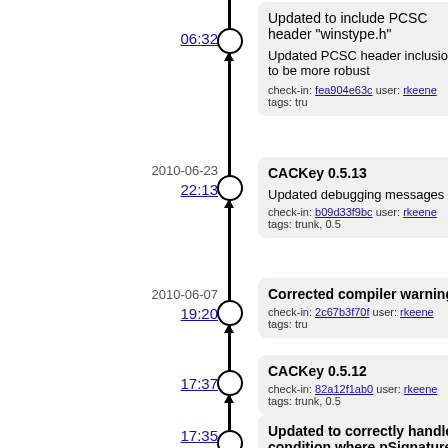06:32
Updated to include PCSC header "winstype.h"

Updated PCSC header inclusion to be more robust   check-in: fea904e63c user: rkeene tags: tru
2010-06-23
22:13
CACKey 0.5.13

Updated debugging messages
check-in: b09d33f9bc user: rkeene tags: trunk, 0.5
2010-06-07
19:20
Corrected compiler warning
check-in: 2c67b3f70f user: rkeene tags: tru
17:37
CACKey 0.5.12
check-in: 82a12f1ab0 user: rkeene tags: trunk, 0.5
17:35
Updated to correctly handle condition where pSignature is NULL in C_Sign()
check-in: 85feb752e1 user: rkeene tags: tru